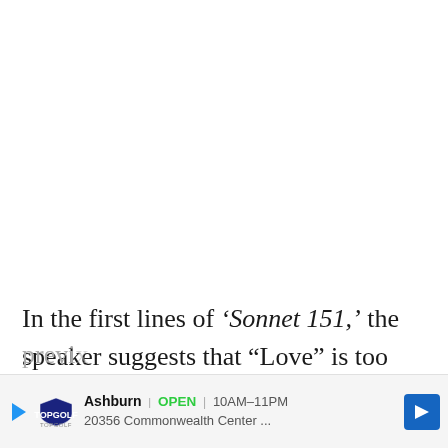In the first lines of ‘Sonnet 151,’ the speaker suggests that “Love” is too young or innocent to know what “conscience is.” His lust for the Dark Lady, which he’s describing as lo[ve]... previ[ously]...
[Figure (other): Advertisement banner for Topgolf Ashburn showing: play icon, Topgolf logo, Ashburn location name, OPEN status, hours 10AM-11PM, address 20356 Commonwealth Center..., and a blue navigation arrow icon]